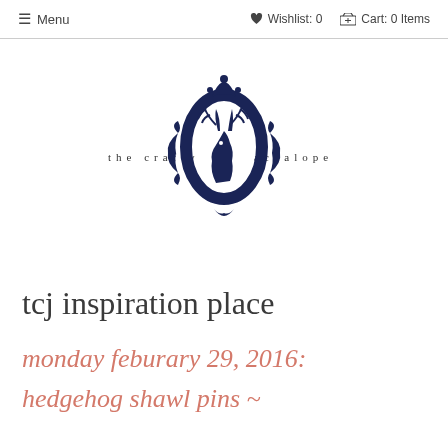≡ Menu   ♥ Wishlist: 0   🛒 Cart: 0 Items
[Figure (logo): The Crafty Jackalope logo: a dark navy ornate oval frame containing a silhouette of a jackalope (rabbit with antlers), with the text 'the crafty jackalope' beside it in spaced serif lettering]
tcj inspiration place
monday feburary 29, 2016:
hedgehog shawl pins ~